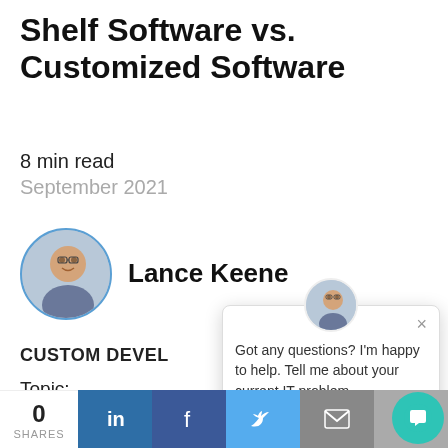Shelf Software vs. Customized Software
8 min read
September 2021
[Figure (photo): Circular portrait photo of Lance Keene, a man with glasses and short hair, smiling outdoors.]
Lance Keene
CUSTOM DEVEL…
Topic:
ASP.NET Developm…
[Figure (screenshot): Chat popup overlay with avatar photo and message: 'Got any questions? I'm happy to help. Tell me about your current IT problem.']
0
SHARES